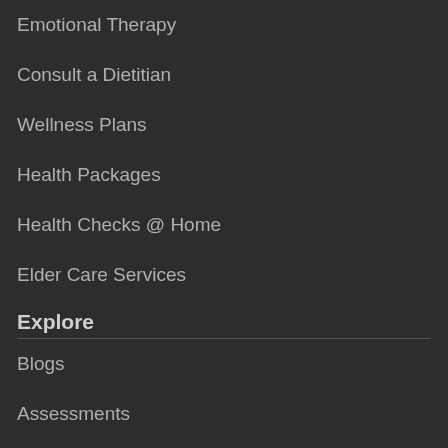Emotional Therapy
Consult a Dietitian
Wellness Plans
Health Packages
Health Checks @ Home
Elder Care Services
Explore
Blogs
Assessments
Nutrition Facts
Wellness Sessions